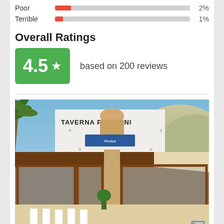Poor  2%
Terrible  1%
Overall Ratings
4.5 ★  based on 200 reviews
[Figure (photo): Exterior photo of Taverna Pirofani restaurant with white building, wooden-framed glass facade, palm trees, and outdoor seating area]